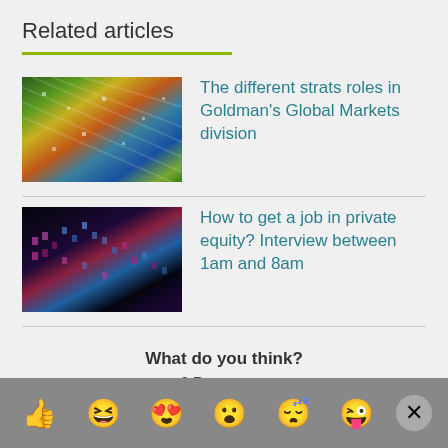Related articles
[Figure (photo): Close-up of colorful digital data or stock market display with green, yellow, orange, and blue hues]
The different strats roles in Goldman's Global Markets division
[Figure (photo): Night-time photo of tall buildings with colorful lights, dark pink and blue tones]
How to get a job in private equity? Interview between 1am and 8am
What do you think?
6 Responses